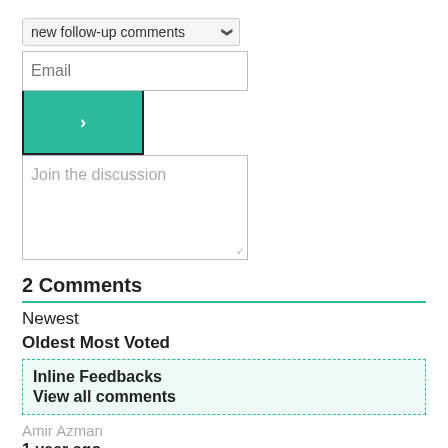[Figure (screenshot): Dropdown selector showing 'new follow-up comments' option]
[Figure (screenshot): Email input field placeholder]
[Figure (screenshot): Teal submit button with arrow]
[Figure (screenshot): Join the discussion textarea]
2 Comments
Newest
Oldest Most Voted
Inline Feedbacks
View all comments
Amir Azman
1 year ago
Theres a lot of leaks about iPhone 12. Lets see during the events.